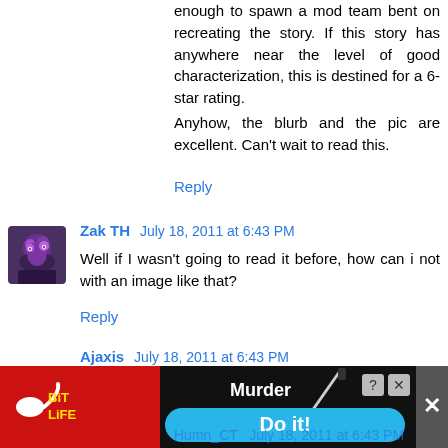enough to spawn a mod team bent on recreating the story. If this story has anywhere near the level of good characterization, this is destined for a 6-star rating.
Anyhow, the blurb and the pic are excellent. Can't wait to read this.
Reply
Zak TH  July 18, 2011 at 6:43 PM
Well if I wasn't going to read it before, how can i not with an image like that?
Reply
Ajaxis  July 18, 2011 at 6:43 PM
I just finished reading the prelude and all three chapters...
Cannot wait for the forth.
Reply
[Figure (screenshot): Advertisement banner for BitLife game featuring 'Murder - Do it!' call to action with red and blue colors, sperm logo, and close button]
Humn_CT  July 18, 2011 at 6:43 PM